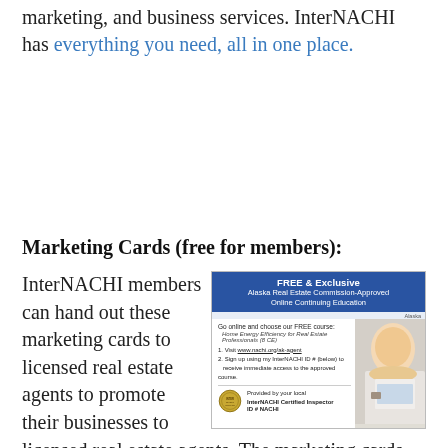marketing, and business services. InterNACHI has everything you need, all in one place.
Marketing Cards (free for members):
[Figure (illustration): Marketing card image showing FREE & Exclusive Alaska Real Estate Commission-Approved Online Continuing Education with a photo of a woman at a laptop and InterNACHI certified inspector seal.]
InterNACHI members can hand out these marketing cards to licensed real estate agents to promote their businesses to licensed real estate agents. The marketing cards are free for InterNACHI